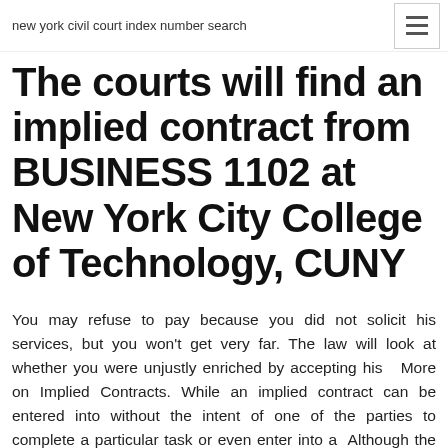new york civil court index number search
The courts will find an implied contract from BUSINESS 1102 at New York City College of Technology, CUNY
You may refuse to pay because you did not solicit his services, but you won't get very far. The law will look at whether you were unjustly enriched by accepting his   More on Implied Contracts. While an implied contract can be entered into without the intent of one of the parties to complete a particular task or even enter into a  Although the law is generally wary of imposing contracts on parties who did not agree to their terms, courts will find that a contract implied in law exists when (1)  If the parties' conduct or the circumstances suggests they had an